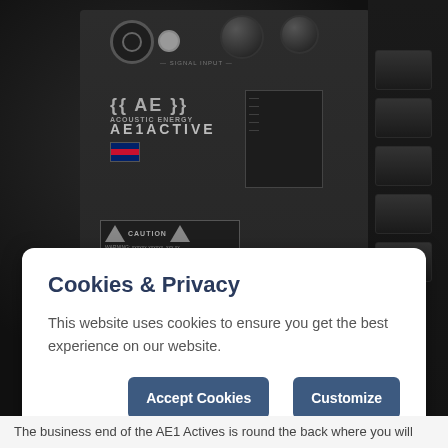[Figure (photo): Close-up photograph of the rear panel of an AE1 Active speaker, showing XLR and RCA inputs, control knobs, caution labels, a red power switch indicator, an IEC power inlet, and model information text. A second speaker is partially visible on the right.]
Cookies & Privacy
This website uses cookies to ensure you get the best experience on our website.
Accept Cookies
Customize
The business end of the AE1 Actives is round the back where you will